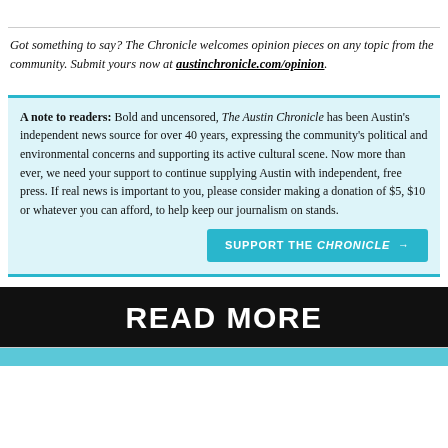Got something to say? The Chronicle welcomes opinion pieces on any topic from the community. Submit yours now at austinchronicle.com/opinion.
A note to readers: Bold and uncensored, The Austin Chronicle has been Austin's independent news source for over 40 years, expressing the community's political and environmental concerns and supporting its active cultural scene. Now more than ever, we need your support to continue supplying Austin with independent, free press. If real news is important to you, please consider making a donation of $5, $10 or whatever you can afford, to help keep our journalism on stands.
SUPPORT THE CHRONICLE →
READ MORE